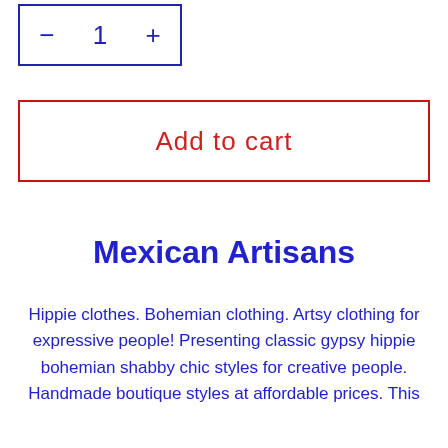[Figure (screenshot): Quantity selector box with minus button, number 1, and plus button, styled with navy blue border]
Add to cart
Mexican Artisans
Hippie clothes. Bohemian clothing. Artsy clothing for expressive people! Presenting classic gypsy hippie bohemian shabby chic styles for creative people. Handmade boutique styles at affordable prices. This